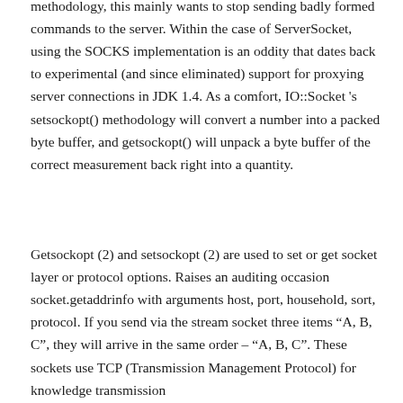methodology, this mainly wants to stop sending badly formed commands to the server. Within the case of ServerSocket, using the SOCKS implementation is an oddity that dates back to experimental (and since eliminated) support for proxying server connections in JDK 1.4. As a comfort, IO::Socket 's setsockopt() methodology will convert a number into a packed byte buffer, and getsockopt() will unpack a byte buffer of the correct measurement back right into a quantity.
Getsockopt (2) and setsockopt (2) are used to set or get socket layer or protocol options. Raises an auditing occasion socket.getaddrinfo with arguments host, port, household, sort, protocol. If you send via the stream socket three items “A, B, C”, they will arrive in the same order – “A, B, C”. These sockets use TCP (Transmission Management Protocol) for knowledge transmission